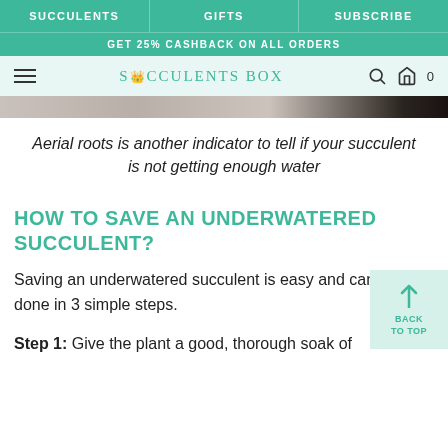SUCCULENTS | GIFTS | SUBSCRIBE
GET 25% CASHBACK ON ALL ORDERS
SUCCULENTS BOX
[Figure (photo): Partial image of succulents at top of page]
Aerial roots is another indicator to tell if your succulent is not getting enough water
HOW TO SAVE AN UNDERWATERED SUCCULENT?
Saving an underwatered succulent is easy and can be done in 3 simple steps.
Step 1: Give the plant a good, thorough soak of